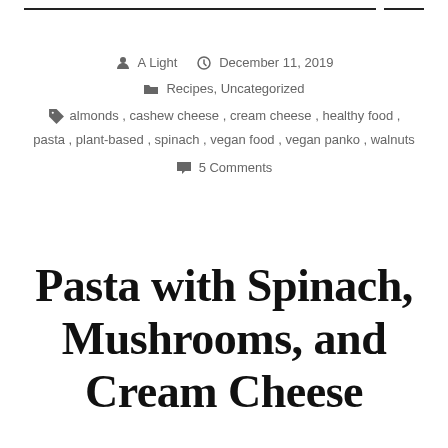— (decorative lines with header) —
A Light   December 11, 2019   Recipes, Uncategorized
almonds, cashew cheese, cream cheese, healthy food, pasta, plant-based, spinach, vegan food, vegan panko, walnuts
5 Comments
Pasta with Spinach, Mushrooms, and Cream Cheese